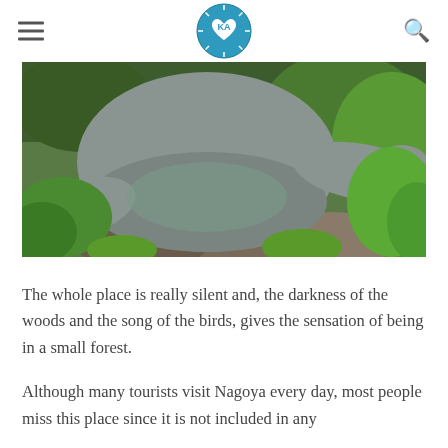KA logo with hamburger menu and search icon
[Figure (photo): Close-up of a bronze Buddha statue seated on rocks, surrounded by lush green foliage and garden plants]
The whole place is really silent and, the darkness of the woods and the song of the birds, gives the sensation of being in a small forest.
Although many tourists visit Nagoya every day, most people miss this place since it is not included in any